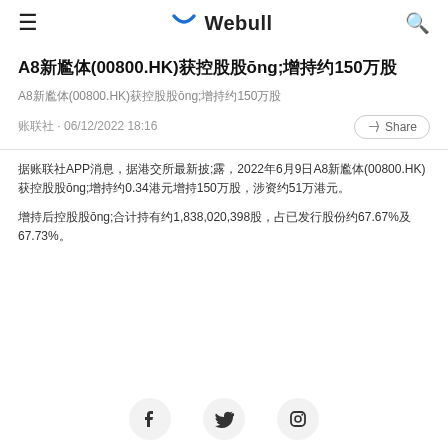≡  Webull  🔍
A8新媒体(00800.HK)获控股股东增持约150万股
A8新媒体(00800.HK)获控股股东增持约150万股
财联社 · 06/12/2022 18:16
据财联社APP消息，据港交所最新披露，2022年6月9日A8新媒体(00800.HK)获控股股东增持约0.34港元增持150万股，涉资约51万港元。
增持后控股股东合计持有约1,838,020,398股，占已发行股份约67.67%及67.73%。